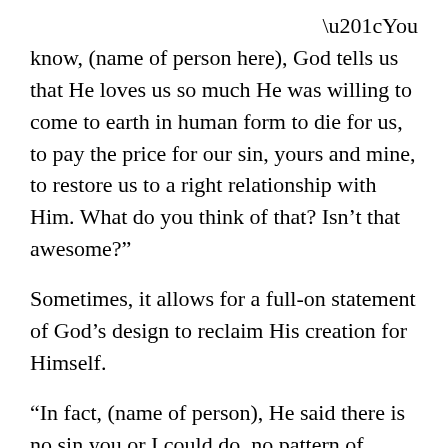“You know, (name of person here), God tells us that He loves us so much He was willing to come to earth in human form to die for us, to pay the price for our sin, yours and mine, to restore us to a right relationship with Him. What do you think of that? Isn’t that awesome?”
Sometimes, it allows for a full-on statement of God’s design to reclaim His creation for Himself.
“In fact, (name of person), He said there is no sin you or I could do, no pattern of sinful behavior, no limit to hurting ourselves or others that His sustaining Grace can’t defeat.